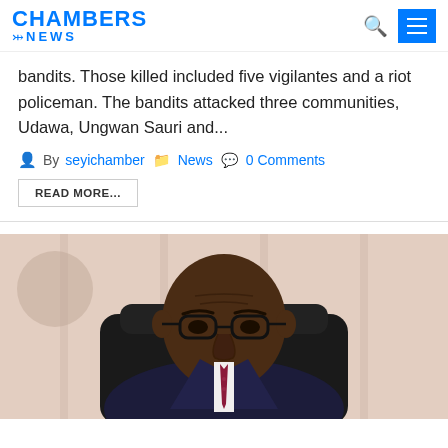CHAMBERS NEWS
bandits. Those killed included five vigilantes and a riot policeman. The bandits attacked three communities, Udawa, Ungwan Sauri and...
By seyichamber  News  0 Comments
READ MORE...
[Figure (photo): A man in a dark suit and red tie wearing black-rimmed glasses, seated in a black chair, looking serious. Background shows pink and white decorative panels and a logo.]